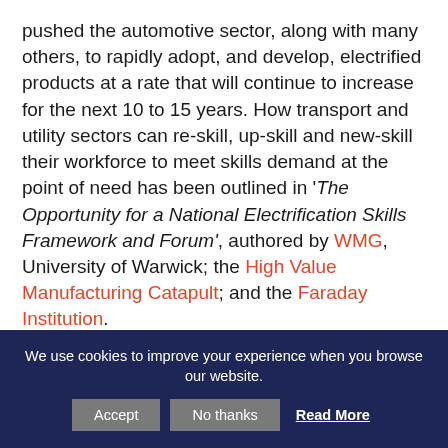pushed the automotive sector, along with many others, to rapidly adopt, and develop, electrified products at a rate that will continue to increase for the next 10 to 15 years. How transport and utility sectors can re-skill, up-skill and new-skill their workforce to meet skills demand at the point of need has been outlined in 'The Opportunity for a National Electrification Skills Framework and Forum', authored by WMG, University of Warwick; the High Value Manufacturing Catapult; and the Faraday Institution.
We use cookies to improve your experience when you browse our website.